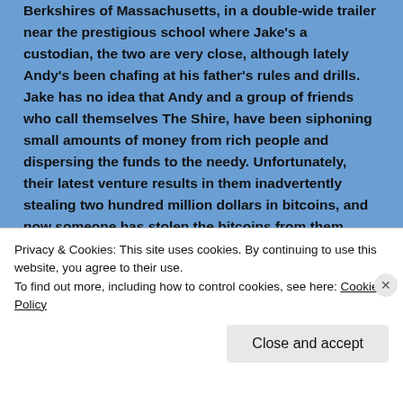Berkshires of Massachusetts, in a double-wide trailer near the prestigious school where Jake's a custodian, the two are very close, although lately Andy's been chafing at his father's rules and drills. Jake has no idea that Andy and a group of friends who call themselves The Shire, have been siphoning small amounts of money from rich people and dispersing the funds to the needy. Unfortunately, their latest venture results in them inadvertently stealing two hundred million dollars in bitcoins, and now someone has stolen the bitcoins from them. Even worse, the money belongs to a Mexican drug cartel who sends a
Privacy & Cookies: This site uses cookies. By continuing to use this website, you agree to their use.
To find out more, including how to control cookies, see here: Cookie Policy
Close and accept